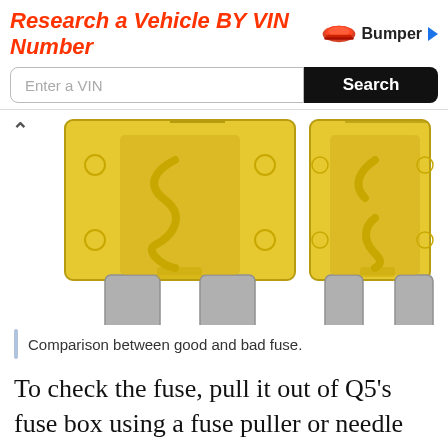[Figure (infographic): Banner advertisement for Bumper vehicle research by VIN number, with a text input field and Search button.]
[Figure (illustration): Illustration showing two blade fuses side by side — a good fuse on the left and a bad (blown) fuse on the right, both yellow with metal terminals.]
Comparison between good and bad fuse.
To check the fuse, pull it out of Q5's fuse box using a fuse puller or needle nose plier and hold it against the light. If the metal strip is broken in the middle, the fuse has blown. You